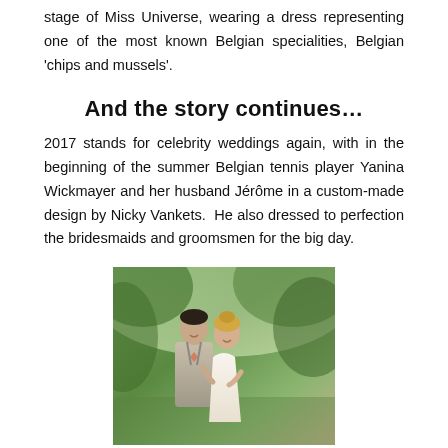stage of Miss Universe, wearing a dress representing one of the most known Belgian specialities, Belgian 'chips and mussels'.
And the story continues…
2017 stands for celebrity weddings again, with in the beginning of the summer Belgian tennis player Yanina Wickmayer and her husband Jérôme in a custom-made design by Nicky Vankets. He also dressed to perfection the bridesmaids and groomsmen for the big day.
[Figure (photo): Wedding photo of a couple embracing outdoors with green foliage background. The man wears a light grey suit and the woman wears a white wedding dress.]